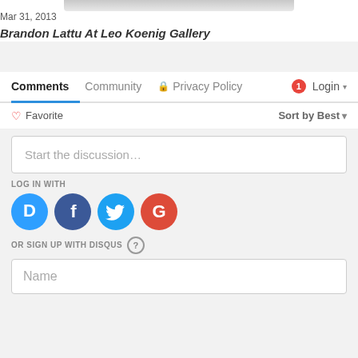Mar 31, 2013
Brandon Lattu At Leo Koenig Gallery
Comments  Community  🔒 Privacy Policy  1 Login ▾
♡ Favorite   Sort by Best ▾
Start the discussion...
LOG IN WITH
[Figure (infographic): Social login icons: Disqus (blue D), Facebook (dark blue f), Twitter (light blue bird), Google (red G)]
OR SIGN UP WITH DISQUS ?
Name